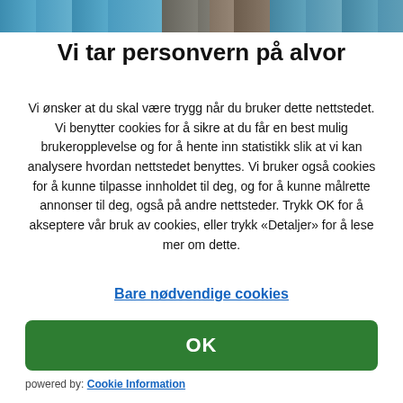[Figure (photo): Cropped top portion of product/person images, two sections side by side]
Vi tar personvern på alvor
Vi ønsker at du skal være trygg når du bruker dette nettstedet. Vi benytter cookies for å sikre at du får en best mulig brukeropplevelse og for å hente inn statistikk slik at vi kan analysere hvordan nettstedet benyttes. Vi bruker også cookies for å kunne tilpasse innholdet til deg, og for å kunne målrette annonser til deg, også på andre nettsteder. Trykk OK for å akseptere vår bruk av cookies, eller trykk «Detaljer» for å lese mer om dette.
Bare nødvendige cookies
OK
powered by: Cookie Information